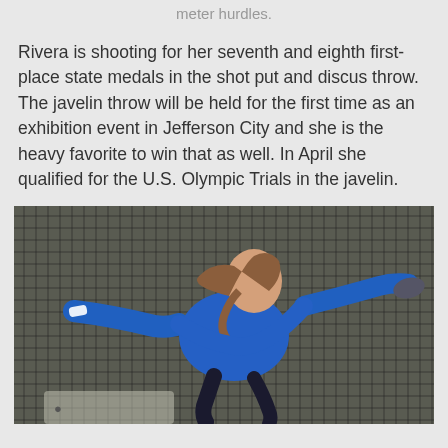meter hurdles.
Rivera is shooting for her seventh and eighth first-place state medals in the shot put and discus throw. The javelin throw will be held for the first time as an exhibition event in Jefferson City and she is the heavy favorite to win that as well. In April she qualified for the U.S. Olympic Trials in the javelin.
[Figure (photo): Young female athlete in blue long-sleeve shirt throwing discus inside a cage net, with arms outstretched, hair in ponytail, photographed outdoors.]